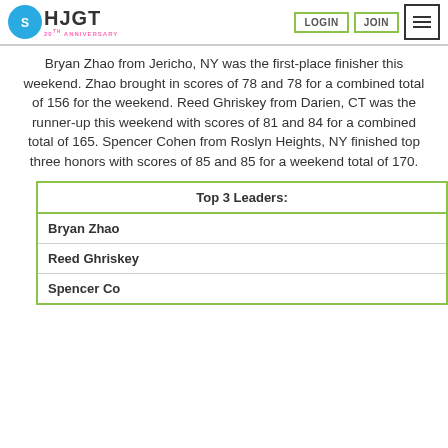HJGT 20th Anniversary — LOGIN | JOIN | Menu
Bryan Zhao from Jericho, NY was the first-place finisher this weekend. Zhao brought in scores of 78 and 78 for a combined total of 156 for the weekend. Reed Ghriskey from Darien, CT was the runner-up this weekend with scores of 81 and 84 for a combined total of 165. Spencer Cohen from Roslyn Heights, NY finished top three honors with scores of 85 and 85 for a weekend total of 170.
| Top 3 Leaders: |
| --- |
| Bryan Zhao |
| Reed Ghriskey |
| Spencer Cohen |